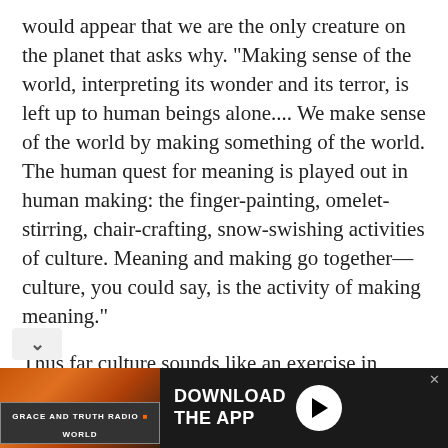would appear that we are the only creature on the planet that asks why. “Making sense of the world, interpreting its wonder and its terror, is left up to human beings alone.... We make sense of the world by making something of the world. The human quest for meaning is played out in human making: the finger-painting, omelet-stirring, chair-crafting, snow-swishing activities of culture. Meaning and making go together—culture, you could say, is the activity of making meaning.”
Thus far culture sounds like an exercise in hermeneutics, or interpreting things that already exist, like a movie critic, for example. But in fact Crouch will go on to insist that culture in fact bes and reshapes the mere material world that
[Figure (other): Advertisement banner for Grace and Truth Radio .World app download with orange/dark photo background and Download The App call to action with play button]